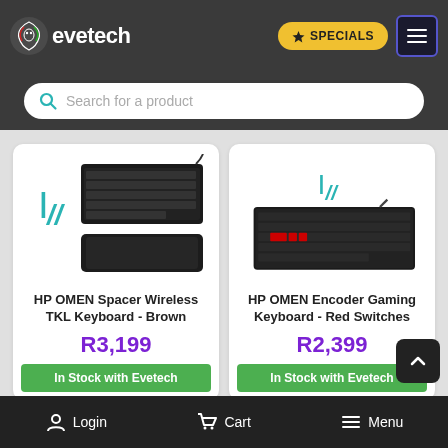[Figure (logo): Evetech logo with phoenix/dragon icon and brand name]
SPECIALS
[Figure (screenshot): Search bar with placeholder text 'Search for a product']
[Figure (photo): HP OMEN Spacer Wireless TKL Keyboard - Brown product image]
HP OMEN Spacer Wireless TKL Keyboard - Brown
R3,199
In Stock with Evetech
[Figure (photo): HP OMEN Encoder Gaming Keyboard - Red Switches product image]
HP OMEN Encoder Gaming Keyboard - Red Switches
R2,399
In Stock with Evetech
Login   Cart   Menu